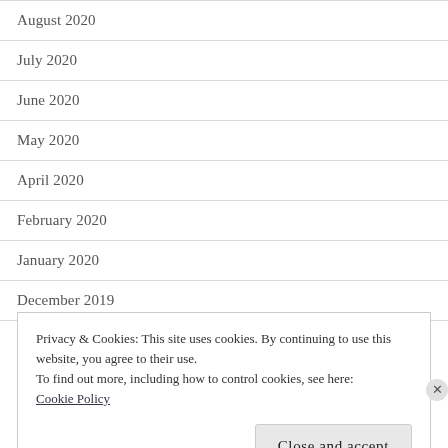August 2020
July 2020
June 2020
May 2020
April 2020
February 2020
January 2020
December 2019
November 2019
Privacy & Cookies: This site uses cookies. By continuing to use this website, you agree to their use.
To find out more, including how to control cookies, see here:
Cookie Policy
Close and accept